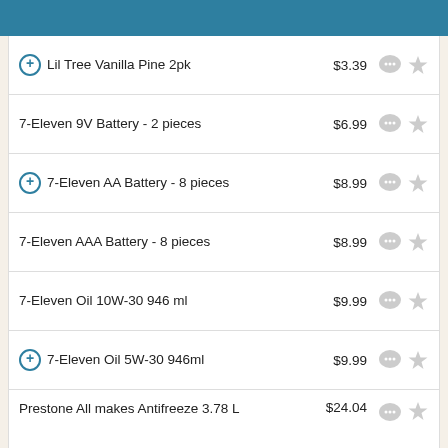Lil Tree Vanilla Pine 2pk  $3.39
7-Eleven 9V Battery - 2 pieces  $6.99
7-Eleven AA Battery - 8 pieces  $8.99
7-Eleven AAA Battery - 8 pieces  $8.99
7-Eleven Oil 10W-30 946 ml  $9.99
7-Eleven Oil 5W-30 946ml  $9.99
Prestone All makes Antifreeze 3.78 L  $24.04
7-Select Trash Bags 30 gal - 10 count  $6.49
Scotties Tissues Cube - $1 Off  $1.99
Solo grip Plates - 20 count  $5.99